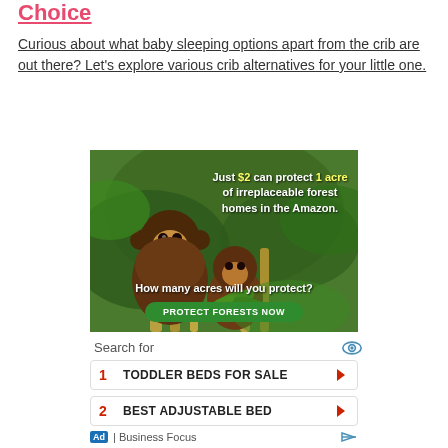Choice
Curious about what baby sleeping options apart from the crib are out there? Let's explore various crib alternatives for your little one.
[Figure (photo): Advertisement showing two monkeys (capuchins) in an Amazon rainforest setting on bamboo branches. Text overlay reads: 'Just $2 can protect 1 acre of irreplaceable forest homes in the Amazon.' and 'How many acres will you protect?' with a green 'PROTECT FORESTS NOW' button.]
Search for
1  TODDLER BEDS FOR SALE
2  BEST ADJUSTABLE BED
Ad | Business Focus